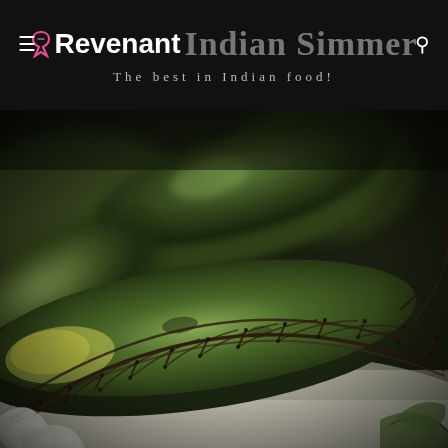Revenant | Indian Simmer — The best in Indian food!
[Figure (photo): Close-up photograph of dark green cucumbers/vegetables in a wire mesh basket, with peeled cucumber slices in the foreground, on a light wooden surface. Dark, moody food photography style.]